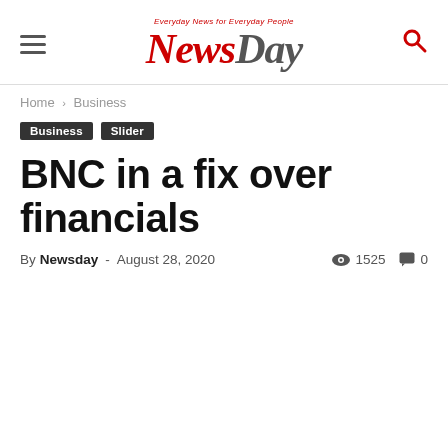NewsDay — Everyday News for Everyday People
Home › Business
Business   Slider
BNC in a fix over financials
By Newsday - August 28, 2020   👁 1525   💬 0